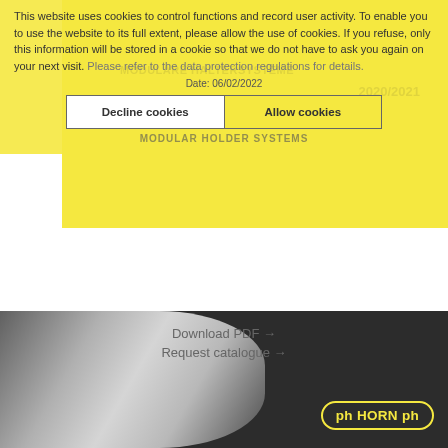[Figure (screenshot): A website screenshot showing a cookie consent popup overlaid on a catalog cover for 'Modulare Haltersysteme / Modular Holder Systems 2020/2021'. The popup has yellow background with cookie notice text in dark gray, and two buttons: 'Decline cookies' (white) and 'Allow cookies' (yellow). Below the popup are links 'Download PDF →' and 'Request catalogue →'. The bottom portion shows a product photo with a ph HORN logo in yellow on a dark background.]